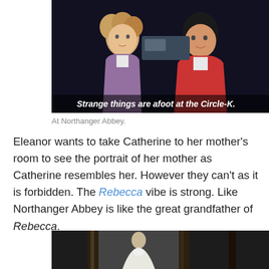[Figure (photo): Two young men (Bill and Ted from Bill & Ted's Excellent Adventure) standing side by side with surprised expressions. One wears a purple jacket, the other a red jacket. Subtitle text reads: Strange things are afoot at the Circle-K.]
At Northanger Abbey.
Eleanor wants to take Catherine to her mother's room to see the portrait of her mother as Catherine resembles her. However they can't as it is forbidden. The Rebecca vibe is strong. Like Northanger Abbey is like the great grandfather of Rebecca.
[Figure (photo): Black and white photograph showing a framed portrait of a woman in a white dress, displayed on a dark wall.]